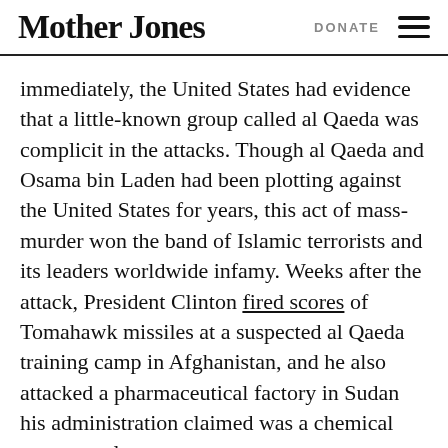Mother Jones | DONATE
immediately, the United States had evidence that a little-known group called al Qaeda was complicit in the attacks. Though al Qaeda and Osama bin Laden had been plotting against the United States for years, this act of mass-murder won the band of Islamic terrorists and its leaders worldwide infamy. Weeks after the attack, President Clinton fired scores of Tomahawk missiles at a suspected al Qaeda training camp in Afghanistan, and he also attacked a pharmaceutical factory in Sudan his administration claimed was a chemical weapons plant.
Ten years later, this past August 7, John McCain released a statement on the anniversary of the